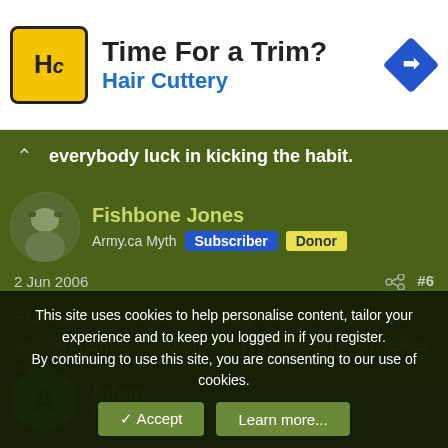[Figure (advertisement): Hair Cuttery ad banner with HC logo, 'Time For a Trim?' headline, 'Hair Cuttery' subtitle, and blue diamond navigation icon]
everybody luck in kicking the habit.
Fishbone Jones
Army.ca Myth  Subscriber  Donor
2 Jun 2006  #6
Started at 12, smoked for 40 years, put them down last September, cold turkey. We'll see where it takes me.
Adam
Jr. Member
This site uses cookies to help personalise content, tailor your experience and to keep you logged in if you register.
By continuing to use this site, you are consenting to our use of cookies.